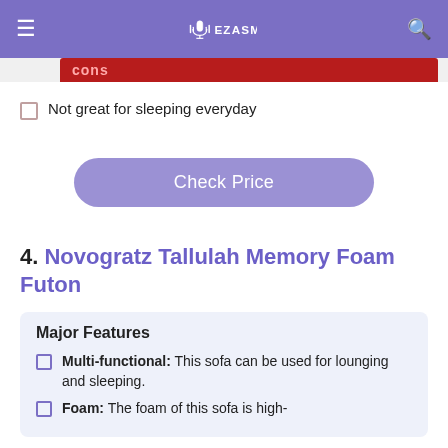EZASMR
Not great for sleeping everyday
Check Price
4. Novogratz Tallulah Memory Foam Futon
Major Features
Multi-functional: This sofa can be used for lounging and sleeping.
Foam: The foam of this sofa is high-